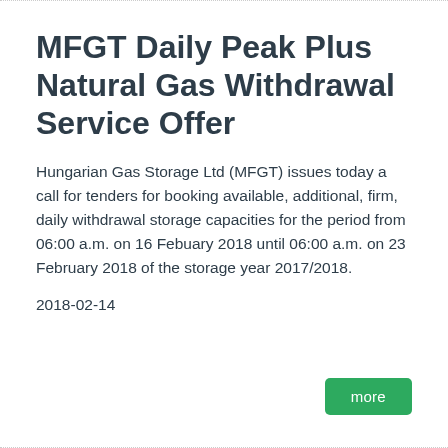MFGT Daily Peak Plus Natural Gas Withdrawal Service Offer
Hungarian Gas Storage Ltd (MFGT) issues today a call for tenders for booking available, additional, firm, daily withdrawal storage capacities for the period from 06:00 a.m. on 16 Febuary 2018 until 06:00 a.m. on 23 February 2018 of the storage year 2017/2018.
2018-02-14